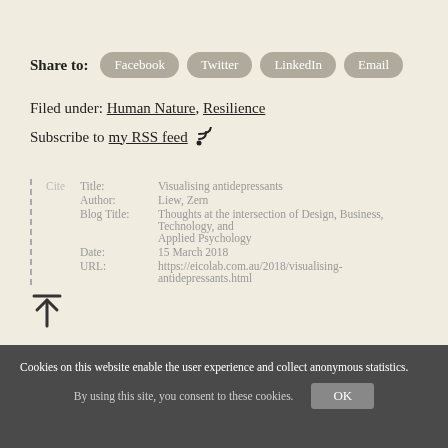Share to: Facebook Twitter LinkedIn Email
Filed under: Human Nature, Resilience
Subscribe to my RSS feed
| Field | Value |
| --- | --- |
| Title: | Visualising antidepressants |
| Author: | Liew, Zern |
| Blog Title: | Thoughts at the intersection of Design, Business, Technology, and Applied Psychology |
| Date: | 15 March 2018 |
| URL: | https://eicolab.com.au/2018/visualising-antidepressants.html |
[Figure (other): Back to top arrow icon with horizontal bar above upward arrow]
Cookies on this website enable the user experience and collect anonymous statistics. By using this site, you consent to these cookies. OK